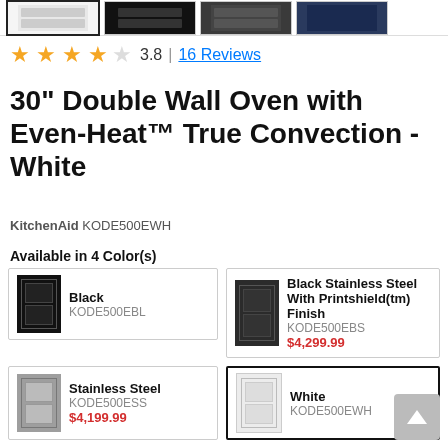[Figure (screenshot): Four product thumbnail images in a horizontal strip at the top of the page]
3.8 | 16 Reviews
30" Double Wall Oven with Even-Heat™ True Convection - White
KitchenAid KODE500EWH
Available in 4 Color(s)
Black
KODE500EBL
Black Stainless Steel With Printshield(tm) Finish
KODE500EBS
$4,299.99
Stainless Steel
KODE500ESS
$4,199.99
White
KODE500EWH